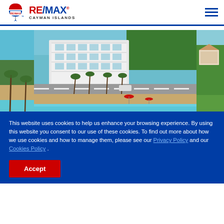RE/MAX CAYMAN ISLANDS
[Figure (photo): Aerial view of beachfront luxury townhouse development with palm trees and turquoise water, shown in three panels (left partial, center main, right partial)]
This website uses cookies to help us enhance your browsing experience. By using this website you consent to our use of these cookies. To find out more about how we use cookies and how to manage them, please see our Privacy Policy and our Cookies Policy .
Accept